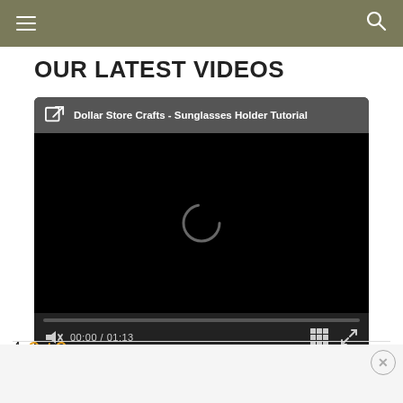Navigation bar with hamburger menu and search icon
OUR LATEST VIDEOS
[Figure (screenshot): Video player showing 'Dollar Store Crafts - Sunglasses Holder Tutorial' with black screen, loading spinner, progress bar at 0:00/01:13, mute button, grid icon, and fullscreen icon]
4. Cat Cozy – Wrap your cup in a kitty hug. Download the free pattern for this cute felt coffee cozy.